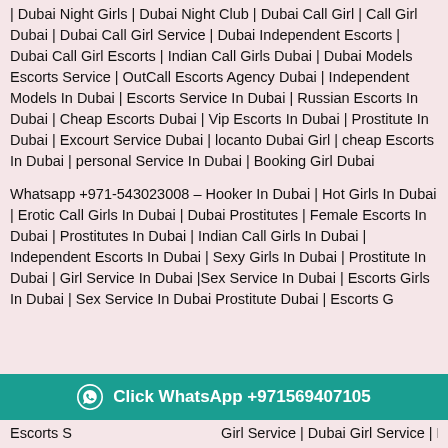| Dubai Night Girls | Dubai Night Club | Dubai Call Girl | Call Girl Dubai | Dubai Call Girl Service | Dubai Independent Escorts | Dubai Call Girl Escorts | Indian Call Girls Dubai | Dubai Models Escorts Service | OutCall Escorts Agency Dubai | Independent Models In Dubai | Escorts Service In Dubai | Russian Escorts In Dubai | Cheap Escorts Dubai | Vip Escorts In Dubai | Prostitute In Dubai | Excourt Service Dubai | locanto Dubai Girl | cheap Escorts In Dubai | personal Service In Dubai | Booking Girl Dubai
Whatsapp +971-543023008 – Hooker In Dubai | Hot Girls In Dubai | Erotic Call Girls In Dubai | Dubai Prostitutes | Female Escorts In Dubai | Prostitutes In Dubai | Indian Call Girls In Dubai | Independent Escorts In Dubai | Sexy Girls In Dubai | Prostitute In Dubai | Girl Service In Dubai |Sex Service In Dubai | Escorts Girls In Dubai | Sex Service In Dubai Prostitute Dubai | Escorts Girls Dubai | ... Escorts S... Girl Service | Dubai Girl Service | Dubai Escorts Service
[Figure (other): WhatsApp click button bar with teal background showing icon and phone number: Click WhatsApp +971569407105]